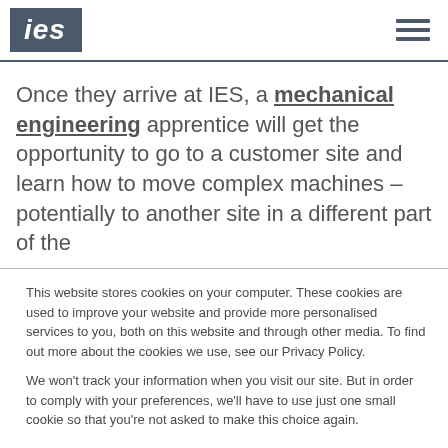ies
Once they arrive at IES, a mechanical engineering apprentice will get the opportunity to go to a customer site and learn how to move complex machines – potentially to another site in a different part of the
This website stores cookies on your computer. These cookies are used to improve your website and provide more personalised services to you, both on this website and through other media. To find out more about the cookies we use, see our Privacy Policy.

We won't track your information when you visit our site. But in order to comply with your preferences, we'll have to use just one small cookie so that you're not asked to make this choice again.